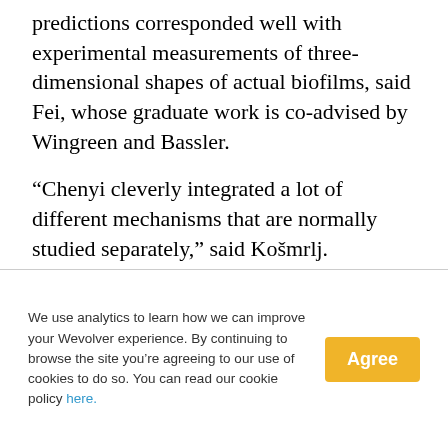predictions corresponded well with experimental measurements of three-dimensional shapes of actual biofilms, said Fei, whose graduate work is co-advised by Wingreen and Bassler.
“Chenyi cleverly integrated a lot of different mechanisms that are normally studied separately,” said Košmrlj.
A key aspect of the model is its adoption of
We use analytics to learn how we can improve your Wevolver experience. By continuing to browse the site you’re agreeing to our use of cookies to do so. You can read our cookie policy here.